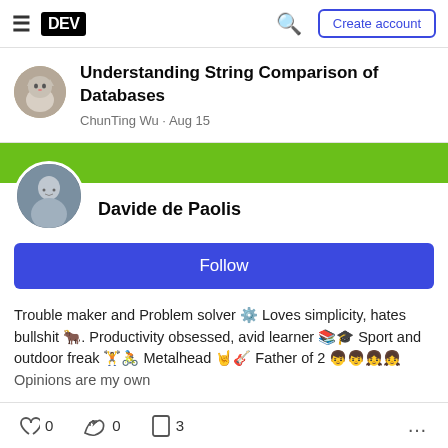DEV | Create account
Understanding String Comparison of Databases
ChunTing Wu - Aug 15
Davide de Paolis
Follow
Trouble maker and Problem solver ⚙️ Loves simplicity, hates bullshit 🐂. Productivity obsessed, avid learner 📚🎓 Sport and outdoor freak 🏋️🚴 Metalhead 🤘🎸 Father of 2 👦👦👧👧 Opinions are my own
0  0  3  ...